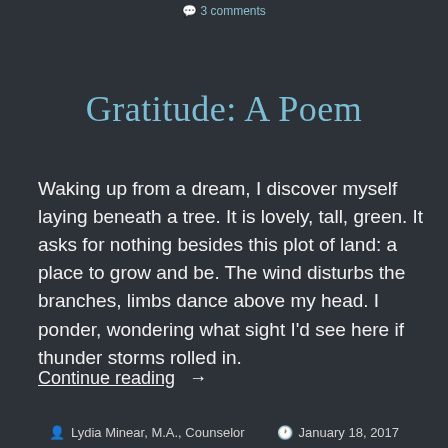3 comments
Gratitude: A Poem
Waking up from a dream, I discover myself laying beneath a tree. It is lovely, tall, green. It asks for nothing besides this plot of land: a place to grow and be. The wind disturbs the branches, limbs dance above my head. I ponder, wondering what sight I'd see here if thunder storms rolled in.
Continue reading  →
Lydia Minear, M.A., Counselor   January 18, 2017